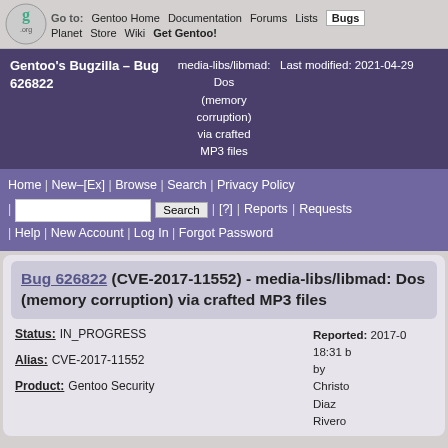Go to: Gentoo Home | Documentation | Forums | Lists | Bugs | Planet | Store | Wiki | Get Gentoo!
Gentoo's Bugzilla – Bug 626822 | media-libs/libmad: Dos (memory corruption) via crafted MP3 files | Last modified: 2021-04-29
Home | New–[Ex] | Browse | Search | Privacy Policy | [?] | Reports | Requests | Help | New Account | Log In | Forgot Password
Bug 626822 (CVE-2017-11552) - media-libs/libmad: Dos (memory corruption) via crafted MP3 files
Status: IN_PROGRESS
Reported: 2017-0... 18:31 by Christo... Diaz Rivero
Alias: CVE-2017-11552
Product: Gentoo Security